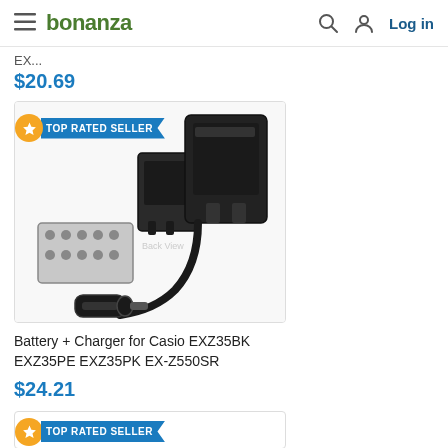bonanza  Log in
EX...
$20.69
[Figure (photo): Product photo of a battery and charger set for Casio camera, showing a battery pack, wall charger (back view labeled), and a car charger adapter with cable. TOP RATED SELLER badge visible.]
Battery + Charger for Casio EXZ35BK EXZ35PE EXZ35PK EX-Z550SR
$24.21
[Figure (photo): Partial product listing with TOP RATED SELLER badge at the bottom of the page.]